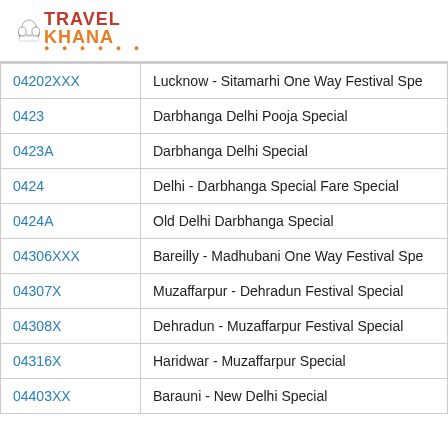[Figure (logo): Travel Khana logo with chef hat icon and decorative dots]
| Code | Train Name |
| --- | --- |
| 04202XXX | Lucknow - Sitamarhi One Way Festival Spe |
| 0423 | Darbhanga Delhi Pooja Special |
| 0423A | Darbhanga Delhi Special |
| 0424 | Delhi - Darbhanga Special Fare Special |
| 0424A | Old Delhi Darbhanga Special |
| 04306XXX | Bareilly - Madhubani One Way Festival Spe |
| 04307X | Muzaffarpur - Dehradun Festival Special |
| 04308X | Dehradun - Muzaffarpur Festival Special |
| 04316X | Haridwar - Muzaffarpur Special |
| 04403XX | Barauni - New Delhi Special |